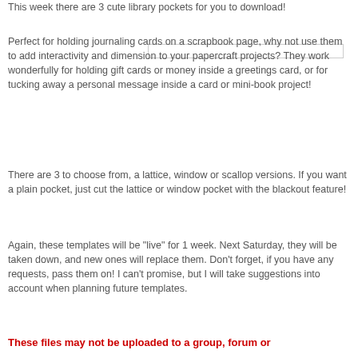This week there are 3 cute library pockets for you to download!
Perfect for holding journaling cards on a scrapbook page, why not use them to add interactivity and dimension to your papercraft projects? They work wonderfully for holding gift cards or money inside a greetings card, or for tucking away a personal message inside a card or mini-book project!
There are 3 to choose from, a lattice, window or scallop versions. If you want a plain pocket, just cut the lattice or window pocket with the blackout feature!
Again, these templates will be "live" for 1 week. Next Saturday, they will be taken down, and new ones will replace them. Don't forget, if you have any requests, pass them on! I can't promise, but I will take suggestions into account when planning future templates.
These files may not be uploaded to a group, forum or